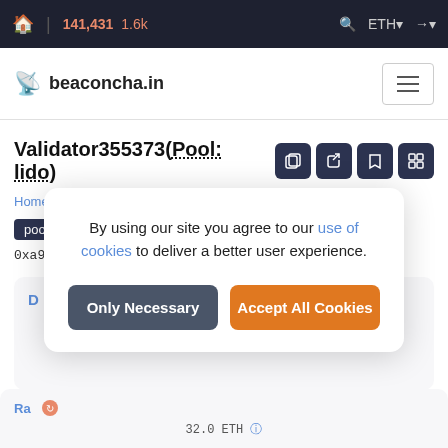🏠 | 141,431  1.6k    🔍  ETH▾  →▾
beaconcha.in  ☰
Validator355373(Pool: lido)
Home / Validators / Validator details
pool  Lido
0xa9aa553150a58a3a4f5d782adeeeb17135227c…
D
By using our site you agree to our use of cookies to deliver a better user experience.
Only Necessary
Accept All Cookies
Ra
32.0 ETH